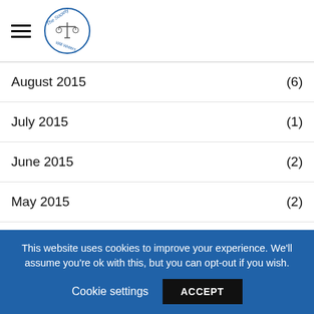The Society of Will Writers
August 2015 (6)
July 2015 (1)
June 2015 (2)
May 2015 (2)
April 2015 (1)
March 2015 (1)
This website uses cookies to improve your experience. We'll assume you're ok with this, but you can opt-out if you wish. Cookie settings ACCEPT